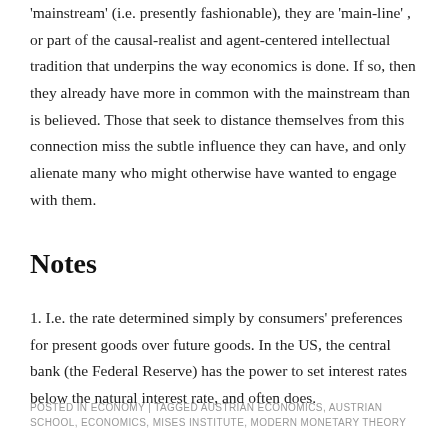'mainstream' (i.e. presently fashionable), they are 'main-line', or part of the causal-realist and agent-centered intellectual tradition that underpins the way economics is done. If so, then they already have more in common with the mainstream than is believed. Those that seek to distance themselves from this connection miss the subtle influence they can have, and only alienate many who might otherwise have wanted to engage with them.
Notes
1. I.e. the rate determined simply by consumers' preferences for present goods over future goods. In the US, the central bank (the Federal Reserve) has the power to set interest rates below the natural interest rate, and often does.
POSTED IN ECONOMY | TAGGED AUSTRIAN ECONOMICS, AUSTRIAN SCHOOL, ECONOMICS, MISES INSTITUTE, MODERN MONETARY THEORY